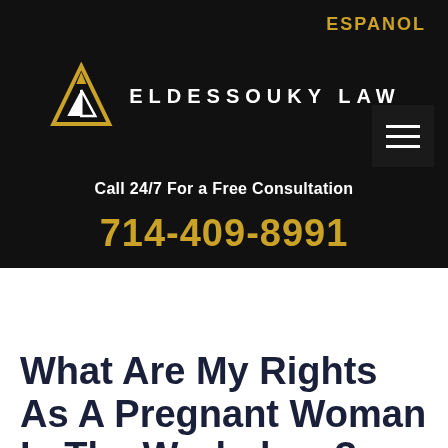ESPANOL
[Figure (logo): Eldessouky Law logo: triangle/arrow icon in gold and white on black background with firm name text]
Call 24/7 For a Free Consultation
714-409-8991
What Are My Rights As A Pregnant Woman In The Workplace?